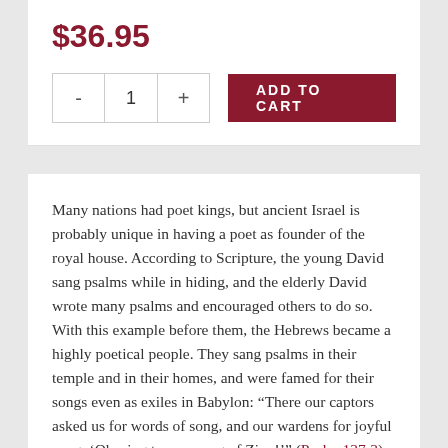$36.95
- 1 + ADD TO CART
Many nations had poet kings, but ancient Israel is probably unique in having a poet as founder of the royal house. According to Scripture, the young David sang psalms while in hiding, and the elderly David wrote many psalms and encouraged others to do so. With this example before them, the Hebrews became a highly poetical people. They sang psalms in their temple and in their homes, and were famed for their songs even as exiles in Babylon: “There our captors asked us for words of song, and our wardens for joyful song: ‘Oh, sing to us a song of Zion!’” (Psalm 137:3).